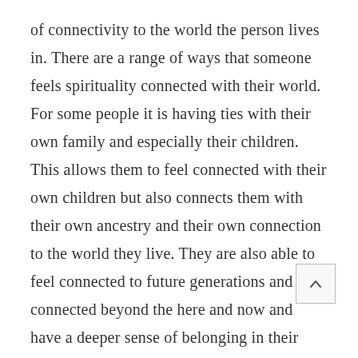of connectivity to the world the person lives in. There are a range of ways that someone feels spirituality connected with their world. For some people it is having ties with their own family and especially their children. This allows them to feel connected with their own children but also connects them with their own ancestry and their own connection to the world they live. They are also able to feel connected to future generations and feel connected beyond the here and now and have a deeper sense of belonging in their world.
Some people feel connected spiritually by connecting with nature. They meet their needs